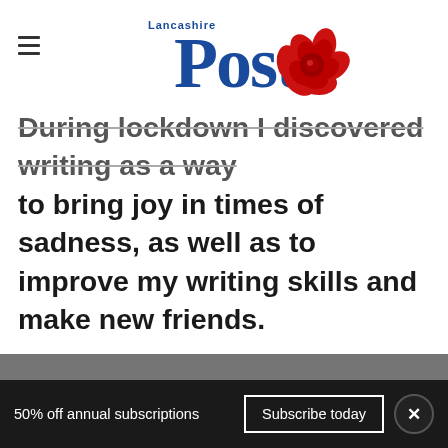Lancashire Post
During lockdown I discovered writing as a way to bring joy in times of sadness, as well as to improve my writing skills and make new friends.
[Figure (other): Advertisement placeholder box with light gray background]
[Figure (other): Gray banner advertisement area]
50% off annual subscriptions
Subscribe today